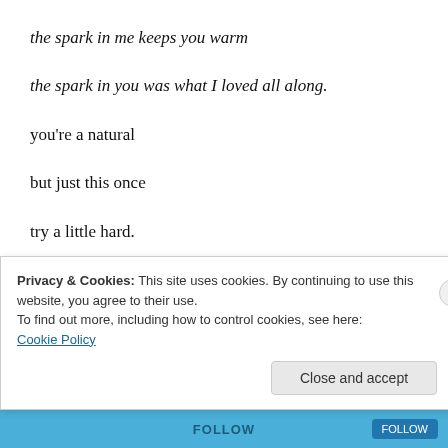the spark in me keeps you warm
the spark in you was what I loved all along.
you're a natural
but just this once
try a little hard.
they say to fight fire with fire
but you should fight on my side dear.
Privacy & Cookies: This site uses cookies. By continuing to use this website, you agree to their use.
To find out more, including how to control cookies, see here: Cookie Policy
Close and accept